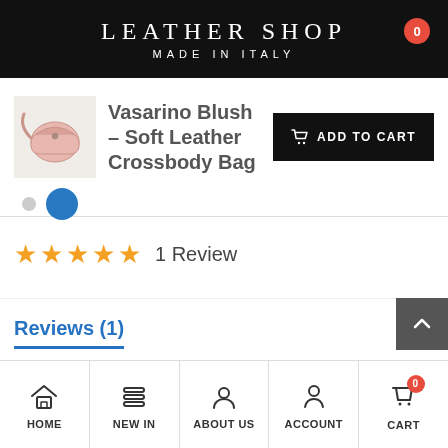LEATHER SHOP
MADE IN ITALY
Vasarino Blush – Soft Leather Crossbody Bag
[Figure (photo): Small thumbnail image of a pink/blush leather crossbody bag]
ADD TO CART
★★★★★  1 Review
Reviews (1)
HOME  NEW IN  ABOUT US  ACCOUNT  CART